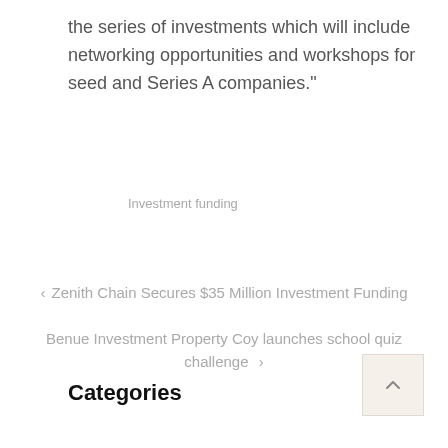the series of investments which will include networking opportunities and workshops for seed and Series A companies."
Investment funding
< Zenith Chain Secures $35 Million Investment Funding
Benue Investment Property Coy launches school quiz challenge >
Categories